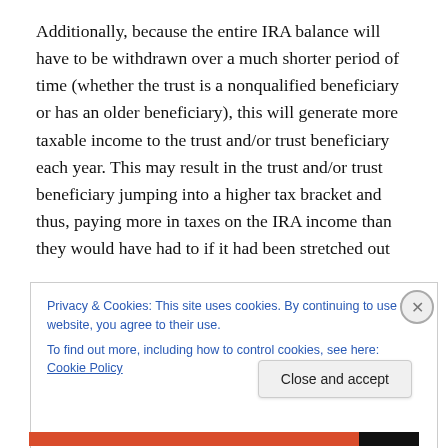Additionally, because the entire IRA balance will have to be withdrawn over a much shorter period of time (whether the trust is a nonqualified beneficiary or has an older beneficiary), this will generate more taxable income to the trust and/or trust beneficiary each year. This may result in the trust and/or trust beneficiary jumping into a higher tax bracket and thus, paying more in taxes on the IRA income than they would have had to if it had been stretched out
Privacy & Cookies: This site uses cookies. By continuing to use this website, you agree to their use.
To find out more, including how to control cookies, see here: Cookie Policy
Close and accept